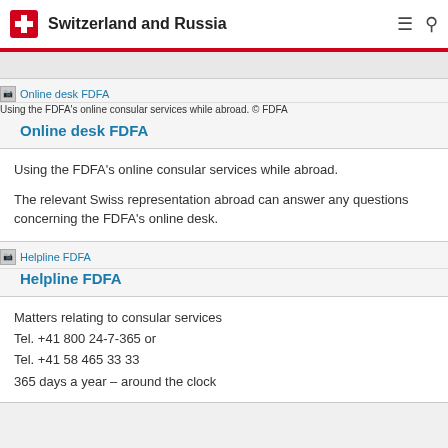Switzerland and Russia
[Figure (other): Online desk FDFA image placeholder]
Using the FDFA's online consular services while abroad. © FDFA
Online desk FDFA
Using the FDFA's online consular services while abroad.

The relevant Swiss representation abroad can answer any questions concerning the FDFA's online desk.
[Figure (other): Helpline FDFA image placeholder]
Helpline FDFA
Matters relating to consular services
Tel. +41 800 24-7-365 or
Tel. +41 58 465 33 33
365 days a year – around the clock